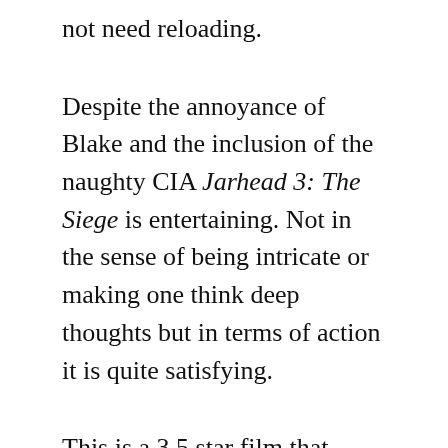not need reloading.
Despite the annoyance of Blake and the inclusion of the naughty CIA Jarhead 3: The Siege is entertaining.  Not in the sense of being intricate or making one think deep thoughts but in terms of action it is quite satisfying.
This is a 3.5 star film that could have stretched to 4 without the character of Blake. It is streaming on Netflix and worth watching. Be prepared to fight the urge to shoot the annoying arsehat with the  video